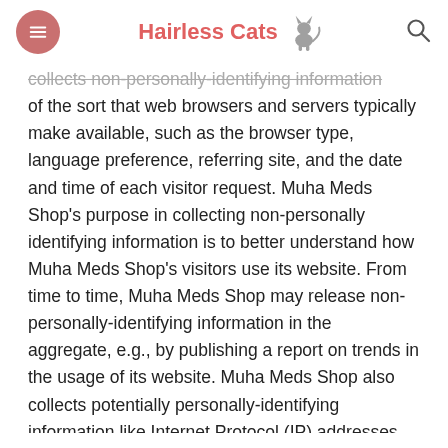Hairless Cats
collects non-personally-identifying information of the sort that web browsers and servers typically make available, such as the browser type, language preference, referring site, and the date and time of each visitor request. Muha Meds Shop's purpose in collecting non-personally identifying information is to better understand how Muha Meds Shop's visitors use its website. From time to time, Muha Meds Shop may release non-personally-identifying information in the aggregate, e.g., by publishing a report on trends in the usage of its website. Muha Meds Shop also collects potentially personally-identifying information like Internet Protocol (IP) addresses for logged in users and for users leaving comments on